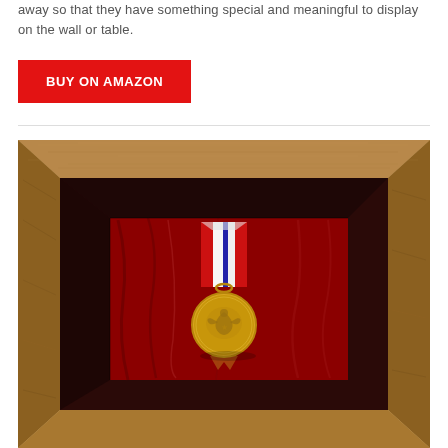away so that they have something special and meaningful to display on the wall or table.
BUY ON AMAZON
[Figure (photo): A wooden shadow box frame with oak finish displaying a military medal with red, white, and blue ribbon against a red velvet background. The gold medal shows an eagle emblem. The frame is viewed at a slight angle.]